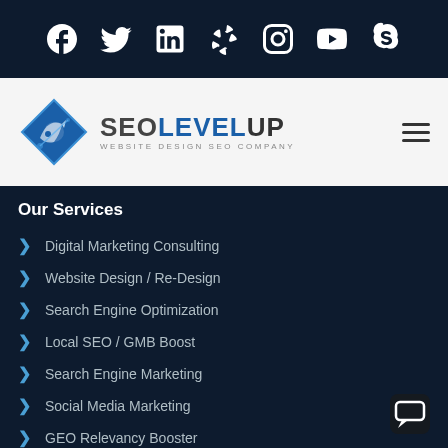[Figure (infographic): Dark navy social media bar with icons: Facebook, Twitter, LinkedIn, Yelp, Instagram, YouTube, Skype]
[Figure (logo): SEO Level Up logo with diamond shape icon and text 'SEOLEVELUP WEBSITE DESIGN SEO COMPANY']
Our Services
Digital Marketing Consulting
Website Design / Re-Design
Search Engine Optimization
Local SEO / GMB Boost
Search Engine Marketing
Social Media Marketing
GEO Relevancy Booster